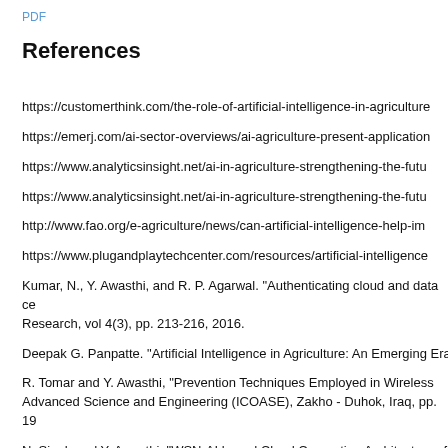PDF
References
https://customerthink.com/the-role-of-artificial-intelligence-in-agriculture
https://emerj.com/ai-sector-overviews/ai-agriculture-present-applicatio
https://www.analyticsinsight.net/ai-in-agriculture-strengthening-the-futu
https://www.analyticsinsight.net/ai-in-agriculture-strengthening-the-futu
http://www.fao.org/e-agriculture/news/can-artificial-intelligence-help-im
https://www.plugandplaytechcenter.com/resources/artificial-intelligence
Kumar, N., Y. Awasthi, and R. P. Agarwal. "Authenticating cloud and data ce Research, vol 4(3), pp. 213-216, 2016.
Deepak G. Panpatte. "Artificial Intelligence in Agriculture: An Emerging Era
R. Tomar and Y. Awasthi, "Prevention Techniques Employed in Wireless Advanced Science and Engineering (ICOASE), Zakho - Duhok, Iraq, pp. 19
N. Singh and Y. Awasthi, "WSN-AI based Cloud Computing Architectures f Data analysis," 2019 International Journal of Advanced Trends in Comput
Thangaduraj Natarajan and Niraj Prasad Bhatta," Utilization of IOT and AI